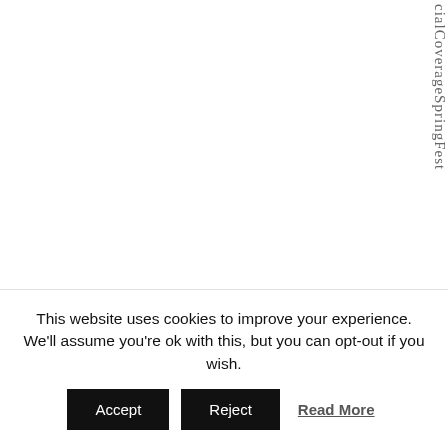cialCoverageSprIngFest
This website uses cookies to improve your experience. We'll assume you're ok with this, but you can opt-out if you wish.
Accept  Reject  Read More